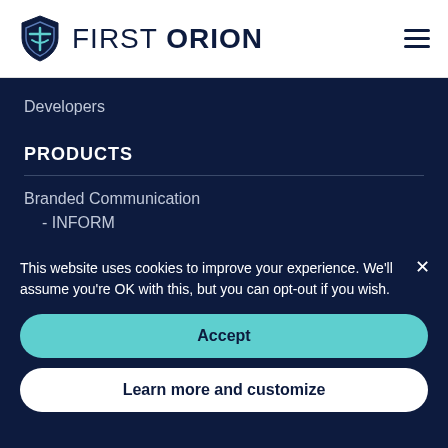FIRST ORION
Developers
PRODUCTS
Branded Communication
- INFORM
This website uses cookies to improve your experience. We'll assume you're OK with this, but you can opt-out if you wish.
Accept
Learn more and customize